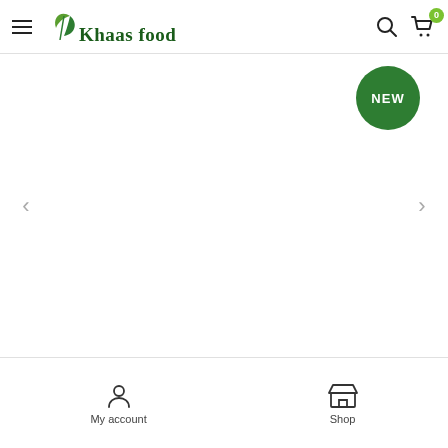Khaas Food
[Figure (screenshot): Product image carousel with NEW badge, white background, left and right navigation arrows]
My account  Shop